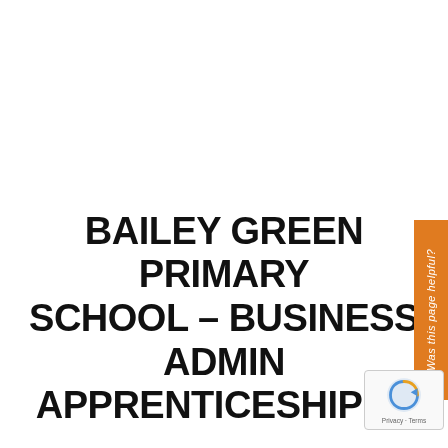Was this page helpful?
BAILEY GREEN PRIMARY SCHOOL – BUSINESS ADMIN APPRENTICESHIP 📅